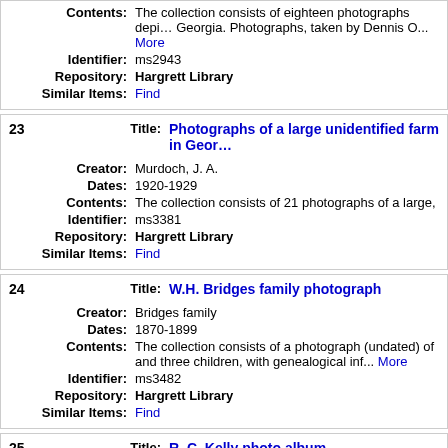Contents: The collection consists of eighteen photographs depicting Georgia. Photographs, taken by Dennis O... More
Identifier: ms2943
Repository: Hargrett Library
Similar Items: Find
23 Title: Photographs of a large unidentified farm in Georgia
Creator: Murdoch, J. A.
Dates: 1920-1929
Contents: The collection consists of 21 photographs of a large,
Identifier: ms3381
Repository: Hargrett Library
Similar Items: Find
24 Title: W.H. Bridges family photograph
Creator: Bridges family
Dates: 1870-1899
Contents: The collection consists of a photograph (undated) of and three children, with genealogical inf... More
Identifier: ms3482
Repository: Hargrett Library
Similar Items: Find
25 Title: R. C. Kelly photo album